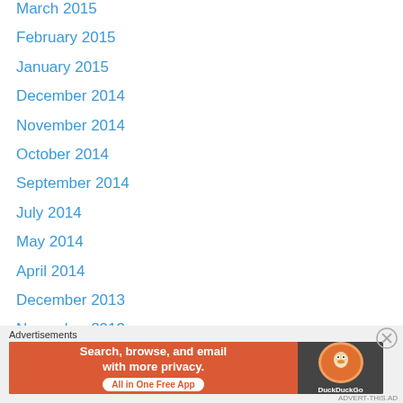March 2015
February 2015
January 2015
December 2014
November 2014
October 2014
September 2014
July 2014
May 2014
April 2014
December 2013
November 2013
September 2013
August 2013
July 2013
May 2013
April 2013
Advertisements
[Figure (other): DuckDuckGo advertisement banner: Search, browse, and email with more privacy. All in One Free App]